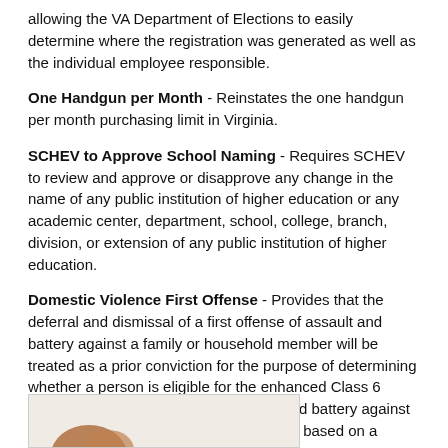allowing the VA Department of Elections to easily determine where the registration was generated as well as the individual employee responsible.
One Handgun per Month - Reinstates the one handgun per month purchasing limit in Virginia.
SCHEV to Approve School Naming - Requires SCHEV to review and approve or disapprove any change in the name of any public institution of higher education or any academic center, department, school, college, branch, division, or extension of any public institution of higher education.
Domestic Violence First Offense - Provides that the deferral and dismissal of a first offense of assault and battery against a family or household member will be treated as a prior conviction for the purpose of determining whether a person is eligible for the enhanced Class 6 felony penalties for stalking or assault and battery against a family or household member that apply based on a person's prior convictions.
[Figure (photo): Partial image visible at bottom of page, appears to show a decorative or symbolic object on a light background.]